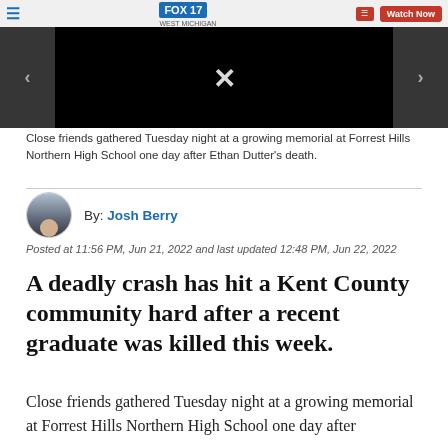[Figure (screenshot): FOX17 West Michigan news website screenshot showing video player with black screen and navigation bar at top]
Close friends gathered Tuesday night at a growing memorial at Forrest Hills Northern High School one day after Ethan Dutter's death.
By: Josh Berry
Posted at 11:56 PM, Jun 21, 2022 and last updated 12:48 PM, Jun 22, 2022
A deadly crash has hit a Kent County community hard after a recent graduate was killed this week.
Close friends gathered Tuesday night at a growing memorial at Forrest Hills Northern High School one day after